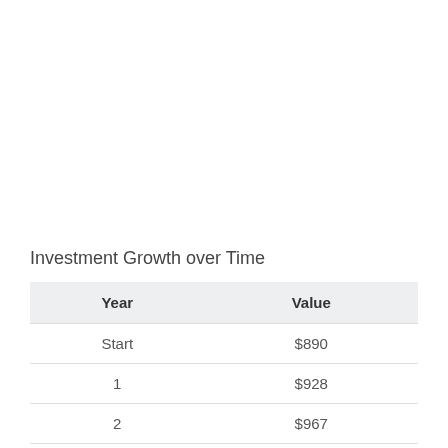Investment Growth over Time
| Year | Value |
| --- | --- |
| Start | $890 |
| 1 | $928 |
| 2 | $967 |
| 3 | $1,008 |
| 4 | $1,051 |